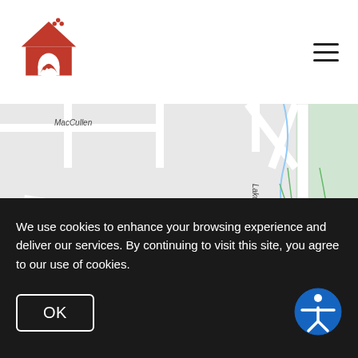[Figure (logo): Red house/shark logo icon]
[Figure (map): Street map showing Arapahoe Rd, Hughs Dr, Lakota Ranch Rd, Hawk Ridge area with roads and green/blue features]
We use cookies to enhance your browsing experience and deliver our services. By continuing to visit this site, you agree to our use of cookies.
OK